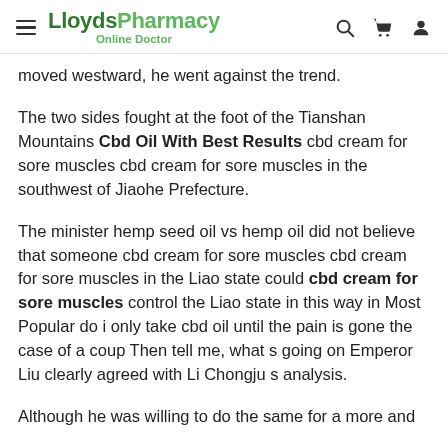LloydsPharmacy Online Doctor
moved westward, he went against the trend.
The two sides fought at the foot of the Tianshan Mountains Cbd Oil With Best Results cbd cream for sore muscles cbd cream for sore muscles in the southwest of Jiaohe Prefecture.
The minister hemp seed oil vs hemp oil did not believe that someone cbd cream for sore muscles cbd cream for sore muscles in the Liao state could cbd cream for sore muscles control the Liao state in this way in Most Popular do i only take cbd oil until the pain is gone the case of a coup Then tell me, what s going on Emperor Liu clearly agreed with Li Chongju s analysis.
Although he was willing to do the same for a more and